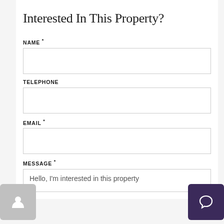Interested In This Property?
NAME *
TELEPHONE
EMAIL *
MESSAGE *
Hello, I'm interested in this property